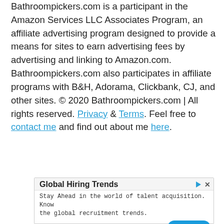Bathroompickers.com is a participant in the Amazon Services LLC Associates Program, an affiliate advertising program designed to provide a means for sites to earn advertising fees by advertising and linking to Amazon.com. Bathroompickers.com also participates in affiliate programs with B&H, Adorama, Clickbank, CJ, and other sites. © 2020 Bathroompickers.com | All rights reserved. Privacy & Terms. Feel free to contact me and find out about me here.
[Figure (screenshot): Advertisement banner for 'Global Hiring Trends' by RChilli Inc with an Open button]